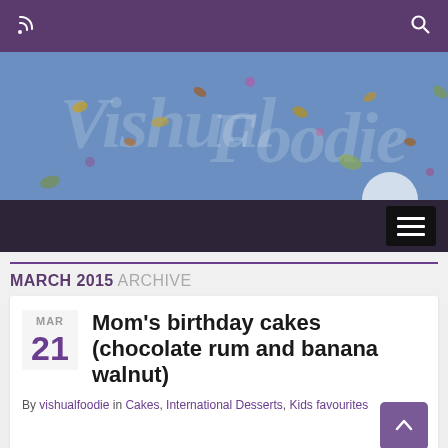Vishual Foodie — site header with RSS and search icons
[Figure (photo): Blog banner image showing 'Vishual Foodie' text in decorative script over a blue background scattered with dried flowers and nuts]
Navigation bar with hamburger menu
MARCH 2015 ARCHIVE
Mom's birthday cakes (chocolate rum and banana walnut)
By vishualfoodie in Cakes, International Desserts, Kids favourites